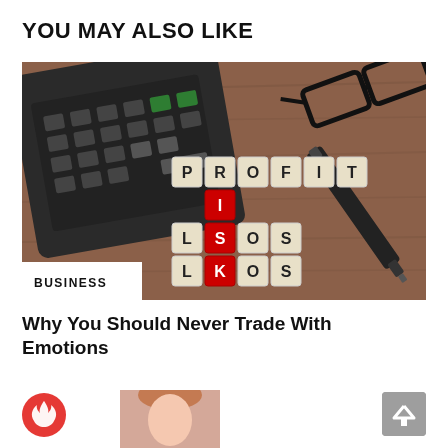YOU MAY ALSO LIKE
[Figure (photo): Photo of a calculator, glasses, pen, and letter tiles spelling PROFIT, RISK, LOSS on a wooden desk. A white badge in the lower left reads BUSINESS.]
Why You Should Never Trade With Emotions
[Figure (illustration): Red circular fire/flame icon]
[Figure (photo): Partial photo of a woman's face/hair]
[Figure (illustration): Grey scroll-to-top button with upward arrow]